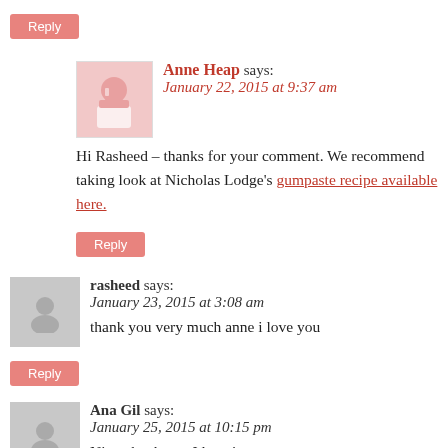Reply (button)
Anne Heap says: January 22, 2015 at 9:37 am — Hi Rasheed – thanks for your comment. We recommend taking look at Nicholas Lodge's gumpaste recipe available here.
Reply (button)
rasheed says: January 23, 2015 at 3:08 am — thank you very much anne i love you
Reply (button)
Ana Gil says: January 25, 2015 at 10:15 pm — Nice, thank you I love it